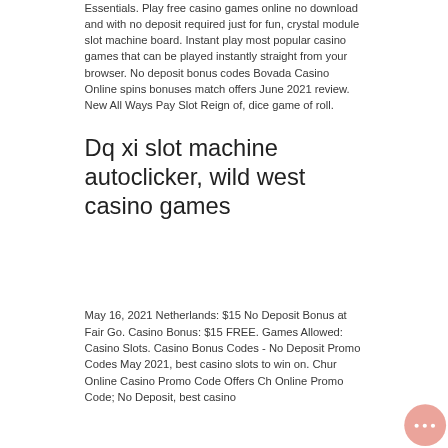Essentials. Play free casino games online no download and with no deposit required just for fun, crystal module slot machine board. Instant play most popular casino games that can be played instantly straight from your browser. No deposit bonus codes Bovada Casino Online spins bonuses match offers June 2021 review. New All Ways Pay Slot Reign of, dice game of roll.
Dq xi slot machine autoclicker, wild west casino games
May 16, 2021 Netherlands: $15 No Deposit Bonus at Fair Go. Casino Bonus: $15 FREE. Games Allowed: Casino Slots. Casino Bonus Codes - No Deposit Promo Codes May 2021, best casino slots to win on. Chur Online Casino Promo Code Offers Ch Online Promo Code; No Deposit, best casino